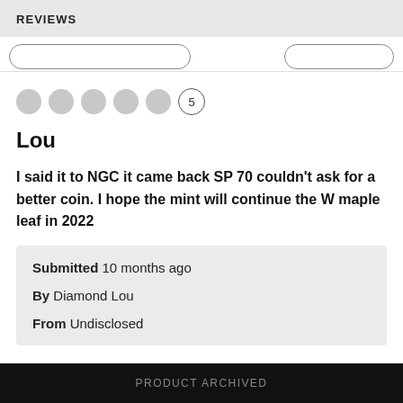REVIEWS
[Figure (screenshot): UI strip with two rounded rectangle input/button elements]
[Figure (other): 5 star rating: 5 filled grey circles followed by a circled number 5]
Lou
I said it to NGC it came back SP 70 couldn't ask for a better coin. I hope the mint will continue the W maple leaf in 2022
| Submitted | 10 months ago |
| By | Diamond Lou |
| From | Undisclosed |
PRODUCT ARCHIVED